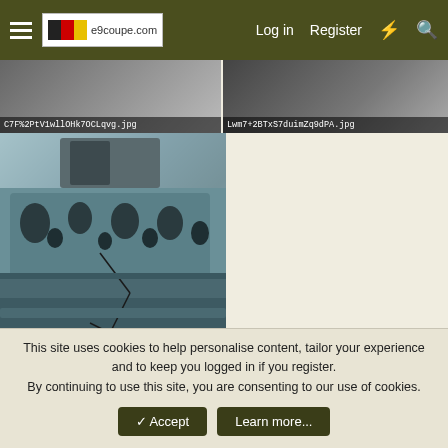e9coupe.com — Log in  Register
[Figure (photo): Image thumbnail with filename C7F%2PtV1wllOHk7OCLqvg.jpg]
[Figure (photo): Image thumbnail with filename Lwm7+2BTxS7duimZq9dPA.jpg]
[Figure (photo): Photo of BMW E9 coupe car body/frame interior — stripped metal shell showing holes and structure. Filename: KvLRYYBNQXilyY1nDpy7Aw.jpg]
jpg10 and Keshav
This site uses cookies to help personalise content, tailor your experience and to keep you logged in if you register.
By continuing to use this site, you are consenting to our use of cookies.
✓ Accept   Learn more...